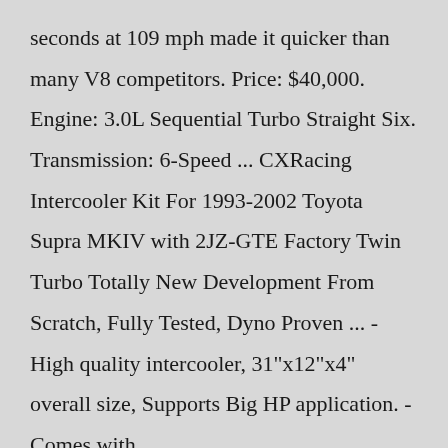seconds at 109 mph made it quicker than many V8 competitors. Price: $40,000. Engine: 3.0L Sequential Turbo Straight Six. Transmission: 6-Speed ... CXRacing Intercooler Kit For 1993-2002 Toyota Supra MKIV with 2JZ-GTE Factory Twin Turbo Totally New Development From Scratch, Fully Tested, Dyno Proven ... - High quality intercooler, 31"x12"x4" overall size, Supports Big HP application. - Comes with